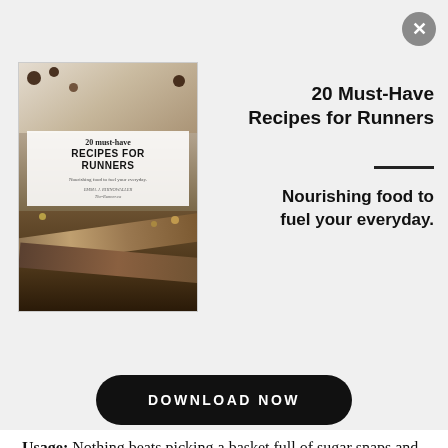[Figure (photo): Book cover of '20 Must-Have Recipes for Runners' with food photography background showing energy bars and nuts]
20 Must-Have Recipes for Runners
Nourishing food to fuel your everyday.
DOWNLOAD NOW
Usage: Nothing beats picking a basket full of sugar snaps and eating them just as they are, crispy and sweet like few other vegetables. They also make for excellent additions to all kinds of salads (especially those with new potatoes in them as well), and are downright amazing in any stir-fry.